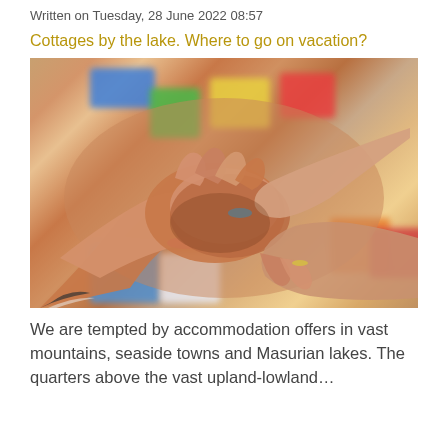Written on Tuesday, 28 June 2022 08:57
Cottages by the lake. Where to go on vacation?
[Figure (photo): Photo of multiple hands stacked together in unity gesture, with colorful blurred toy blocks in the background]
We are tempted by accommodation offers in vast mountains, seaside towns and Masurian lakes. The quarters above the vast upland-lowland…